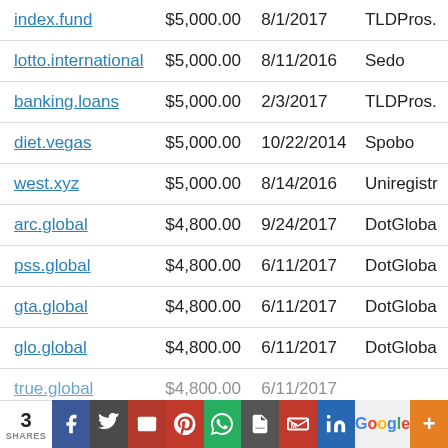| Domain | Price | Date | Source |
| --- | --- | --- | --- |
| index.fund | $5,000.00 | 8/1/2017 | TLDPros. |
| lotto.international | $5,000.00 | 8/11/2016 | Sedo |
| banking.loans | $5,000.00 | 2/3/2017 | TLDPros. |
| diet.vegas | $5,000.00 | 10/22/2014 | Spobo |
| west.xyz | $5,000.00 | 8/14/2016 | Uniregistr |
| arc.global | $4,800.00 | 9/24/2017 | DotGloba |
| pss.global | $4,800.00 | 6/11/2017 | DotGloba |
| gta.global | $4,800.00 | 6/11/2017 | DotGloba |
| glo.global | $4,800.00 | 6/11/2017 | DotGloba |
| true.global | $4,800.00 | 6/11/2017 |  |